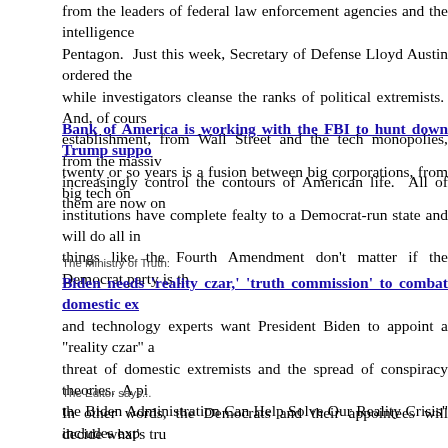from the leaders of federal law enforcement agencies and the intelligence community and the Pentagon.  Just this week, Secretary of Defense Lloyd Austin ordered the military to stand down while investigators cleanse the ranks of political extremists.  And, of course, from the establishment, from Wall Street and the tech monopolies, from the massive corporations that increasingly control the contours of American life.  All of them are now on the same side.
Bank of America is working with the FBI to hunt down Trump supporters... [link] twenty or so years is a fusion between big corporations, from big tech on down, whose institutions have complete fealty to a Democrat-run state and will do all in their power...things like the Fourth Amendment don't matter if the Democrat party is there...
The Ministry of Truth:
Biden needs 'reality czar,' 'truth commission' to combat domestic ex... [link] and technology experts want President Biden to appoint a "reality czar" a... threat of domestic extremists and the spread of conspiracy theories.  A pi... the Biden Administration Can Help Solve Our Reality Crisis" includes exp... the University of Maryland, and other organizations with their take on how... collective delusions." Technology columnist Kevin Roose's piece specifica... claims of widespread election fraud leading to Mr. Biden's election, and n... conservative media outlets.
The Editor says...
In other words, the Democrats and their appointees will decide what's tru... unapproved discussions of things like stolen elections, irrational face mas... warming, the gruesome details of what really happens in an abortion, any... qualms about the side-effects of vaccines, any doubts at all about the Ke... the Oklahoma City bombing, the crash of TWA 800, or the suspicious dea... Andrew Breitbart, Dorothy Kilgallen, Karen Silkwood, and several others w... of Truth takes over the internet, you won't be allowed to say that a man w... or that the news media lies constantly, or that the government spends too... say that the combustion of coal at a power plant is a net benefit to everyo... plastic straws, DDT, Freon, oil pipelines, styrofoam, "light pollution" c...